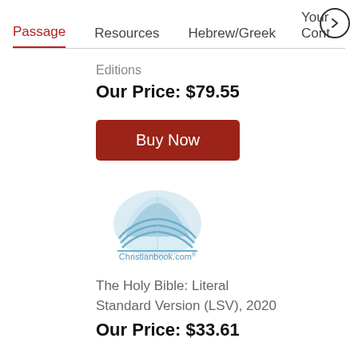Passage  Resources  Hebrew/Greek  Your Cont
Editions
Our Price: $79.55
Buy Now
[Figure (logo): Christianbook.com logo with open book and waves, light blue]
The Holy Bible: Literal Standard Version (LSV), 2020
Our Price: $33.61